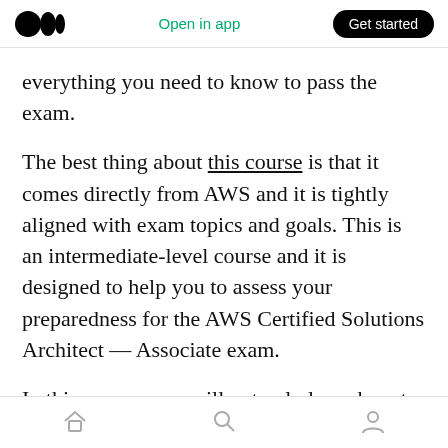Open in app | Get started
everything you need to know to pass the exam.
The best thing about this course is that it comes directly from AWS and it is tightly aligned with exam topics and goals. This is an intermediate-level course and it is designed to help you to assess your preparedness for the AWS Certified Solutions Architect — Associate exam.
In this course, you will not only learn how to prepare for the exam by exploring the exam's topic areas and how they map to architecting on AWS but also you will...
Home | Search | Profile